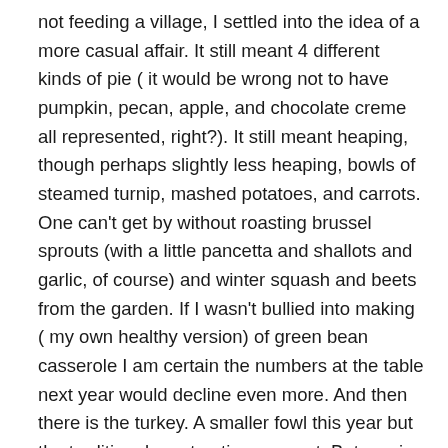not feeding a village, I settled into the idea of a more casual affair. It still meant 4 different kinds of pie ( it would be wrong not to have pumpkin, pecan, apple, and chocolate creme all represented, right?). It still meant heaping, though perhaps slightly less heaping, bowls of steamed turnip, mashed potatoes, and carrots. One can't get by without roasting brussel sprouts (with a little pancetta and shallots and garlic, of course) and winter squash and beets from the garden. If I wasn't bullied into making ( my own healthy version) of green bean casserole I am certain the numbers at the table next year would decline even more. And then there is the turkey. A smaller fowl this year but the traditional meat option won out. But, seeing that I am cruising through the lighter dinner menu with time on my hands ( for knitting, for reading, for relaxing…imagine that! Brilliant, I say!) I decided to bone